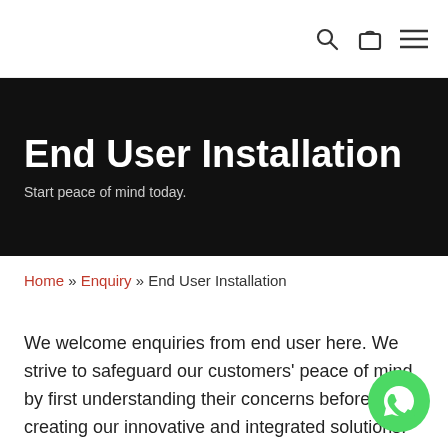Navigation bar with search, cart, and menu icons
End User Installation
Start peace of mind today.
Home » Enquiry » End User Installation
We welcome enquiries from end user here. We strive to safeguard our customers' peace of mind by first understanding their concerns before creating our innovative and integrated solutions. Even after the purchase, we